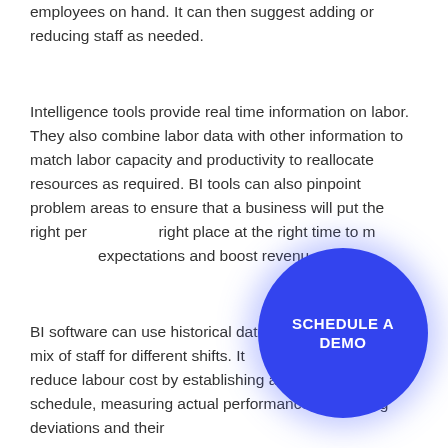employees on hand. It can then suggest adding or reducing staff as needed.
Intelligence tools provide real time information on labor. They also combine labor data with other information to match labor capacity and productivity to reallocate resources as required. BI tools can also pinpoint problem areas to ensure that a business will put the right person in the right place at the right time to meet customer expectations and boost revenue.
[Figure (other): A blue circular button with the text 'SCHEDULE A DEMO' in white bold letters]
BI software can use historical data to determine the right mix of staff for different shifts. It can help a business reduce labour cost by establishing a standard work schedule, measuring actual performance, identifying deviations and their